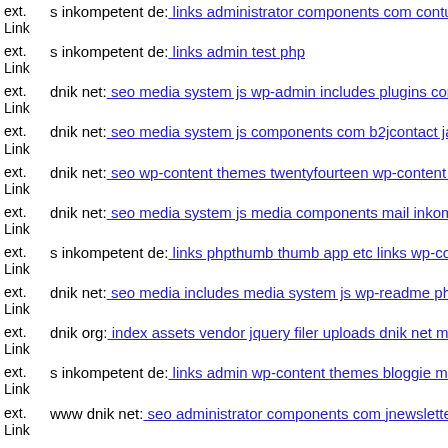ext. Link s inkompetent de: links administrator components com contush
ext. Link s inkompetent de: links admin test php
ext. Link dnik net: seo media system js wp-admin includes plugins conte
ext. Link dnik net: seo media system js components com b2jcontact java
ext. Link dnik net: seo wp-content themes twentyfourteen wp-content the
ext. Link dnik net: seo media system js media components mail inkompe
ext. Link s inkompetent de: links phpthumb thumb app etc links wp-cont
ext. Link dnik net: seo media includes media system js wp-readme php
ext. Link dnik org: index assets vendor jquery filer uploads dnik net magg
ext. Link s inkompetent de: links admin wp-content themes bloggie mail
ext. Link www dnik net: seo administrator components com jnewsletter i
ext.